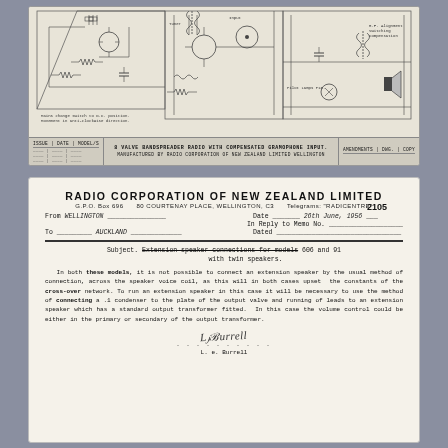[Figure (schematic): Circuit schematic for 8 valve bandspreader radio with compensated gramophone input, manufactured by Radio Corporation of New Zealand Limited, Wellington. Shows circuit diagram with valve, resistor, capacitor, transformer components and wiring. Title block at bottom with issue/date/model fields.]
RADIO CORPORATION OF NEW ZEALAND LIMITED
G.P.O. Box 696   80 COURTENAY PLACE, WELLINGTON, C3   Telegrams: "RADICENTRE"
From  WELLINGTON   Date  26th June, 1956   In Reply to Memo No.   To  AUCKLAND   Dated
Subject. Extension speaker connections for models 606 and 91 with twin speakers.
In both these models, it is not possible to connect an extension speaker by the usual method of connection, across the speaker voice coil, as this will in both cases upset the constants of the cross-over network. To run an extension speaker in this case it will be necessary to use the method of connecting a .1 condenser to the plate of the output valve and running of leads to an extension speaker which has a standard output transformer fitted. In this case the volume control could be either in the primary or secondary of the output transformer.
L. e. Burrell